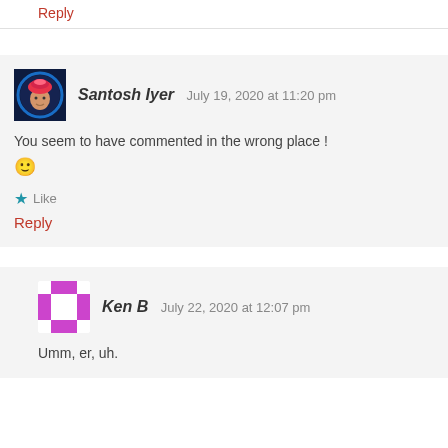Reply
Santosh Iyer   July 19, 2020 at 11:20 pm
You seem to have commented in the wrong place ! 🙂
Like
Reply
Ken B   July 22, 2020 at 12:07 pm
Umm, er, uh.